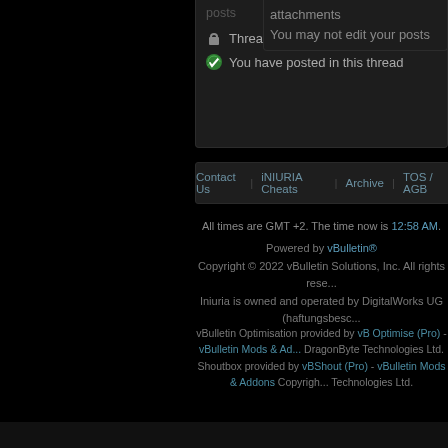posts
attachments
Thread is closed
You have posted in this thread
You may not edit your posts
Contact Us  iNIURIA Cheats  Archive  TOS / AGB
All times are GMT +2. The time now is 12:58 AM.
Powered by vBulletin®
Copyright © 2022 vBulletin Solutions, Inc. All rights rese...
Iniuria is owned and operated by DigitalWorks UG (haftungsbesc...
vBulletin Optimisation provided by vB Optimise (Pro) - vBulletin Mods & Ad... DragonByte Technologies Ltd.
Shoutbox provided by vBShout (Pro) - vBulletin Mods & Addons Copyrigh... Technologies Ltd.